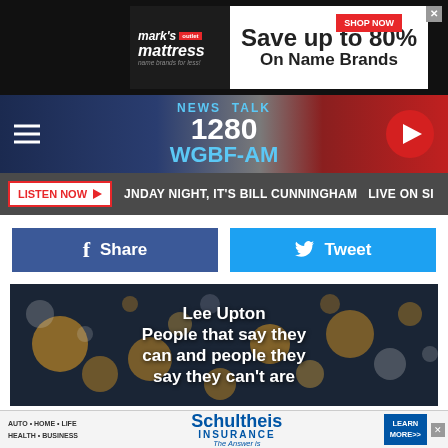[Figure (screenshot): Mark's Mattress advertisement: Save up to 80% On Name Brands with Shop Now button]
[Figure (logo): News Talk 1280 WGBF-AM radio station header with hamburger menu and play button]
LISTEN NOW ▶  JNDAY NIGHT, IT'S BILL CUNNINGHAM  LIVE ON SI
[Figure (infographic): Facebook Share button and Twitter Tweet button]
[Figure (photo): Quote image with bokeh background: Lee Upton People that say they can and people they say they can't are both typically right]
[Figure (screenshot): Schultheis Insurance advertisement: AUTO HOME LIFE HEALTH BUSINESS - The Answer is Schultheis INSURANCE LEARN MORE>>]